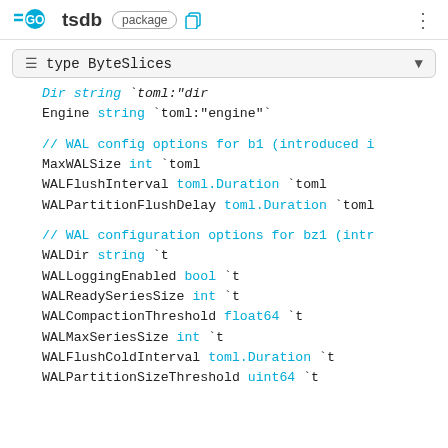GO tsdb package
≡ type ByteSlices
Dir    string  `toml:"dir"
Engine string `toml:"engine"`

// WAL config options for b1 (introduced i
MaxWALSize                 int              `toml
WALFlushInterval           toml.Duration  `toml
WALPartitionFlushDelay toml.Duration  `toml

// WAL configuration options for bz1 (intr
WALDir                         string           `t
WALLoggingEnabled          bool             `t
WALReadySeriesSize         int              `t
WALCompactionThreshold  float64          `t
WALMaxSeriesSize           int              `t
WALFlushColdInterval       toml.Duration  `t
WALPartitionSizeThreshold uint64          `t